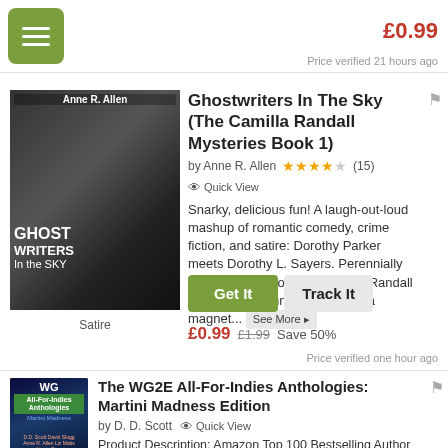[Figure (screenshot): Green hamburger menu button icon]
£0.99
Price verified 21 hours ago
[Figure (photo): Book cover for Ghostwriters In The Sky by Anne R. Allen]
Satire
Ghostwriters In The Sky (The Camilla Randall Mysteries Book 1)
by Anne R. Allen  ★★★★☆ (15)  👁 Quick View
Snarky, delicious fun! A laugh-out-loud mashup of romantic comedy, crime fiction, and satire: Dorothy Parker meets Dorothy L. Sayers. Perennially down-and-out socialite Camilla Randall a.k.a. "The Manners Doctor" is a magnet...  See More ▸
Get It   Track It
£0.99  £1.99  Save 50%
Price verified one hour ago
[Figure (photo): Book cover for The WG2E All-For-Indies Anthologies: Martini Madness Edition]
The WG2E All-For-Indies Anthologies: Martini Madness Edition
by D. D. Scott  👁 Quick View
Product Description: Amazon Top 100 Bestselling Author D. D. Scott - who is also the Co-Founder of The WG2E (The Writer's